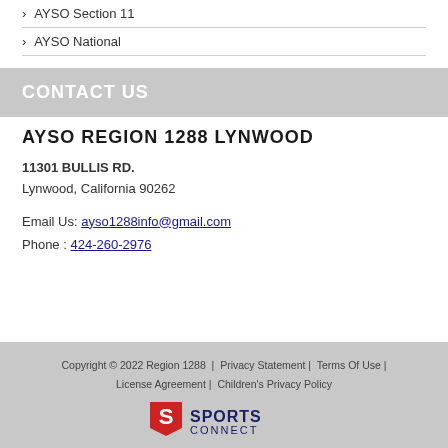AYSO Section 11
AYSO National
CONTACT US
AYSO REGION 1288 LYNWOOD
11301 BULLIS RD.
Lynwood, California 90262
Email Us: ayso1288info@gmail.com
Phone : 424-260-2976
Copyright © 2022 Region 1288 | Privacy Statement | Terms Of Use | License Agreement | Children's Privacy Policy